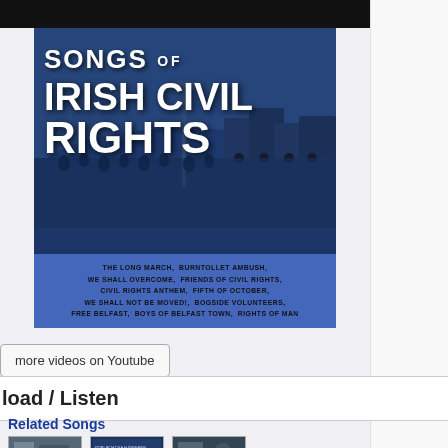[Figure (illustration): Album cover for 'Songs of Irish Civil Rights' showing a blue-tinted crowd/protest photo with bold white title text and a blue panel listing song titles including: The Long March, Burntollet Ambush, We Shall Overcome, Friends of Civil Rights, Civil Rights Anthem, Fifth of October, We Shall Not Be Moved!, Bogside Volunteers, Free Belfast, Boys of Belfast Town, Rights of Man]
more videos on Youtube
load / Listen
Related Songs
[Figure (photo): Small thumbnail image 1 (related song)]
[Figure (photo): Small thumbnail image 2 (related song) - appears to be Poblacht na h-Éireann]
[Figure (photo): Small thumbnail image 3 (related song)]